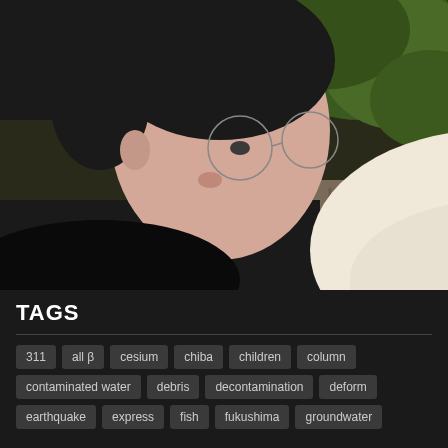[Figure (photo): A person with glasses leaning down close to a white cat with blue eyes. The person has dark hair and is wearing a dark shirt. The cat is white/cream colored with a pink nose. Green foliage visible in background.]
TAGS
311
all β
cesium
chiba
children
column
contaminated water
debris
decontamination
deform
earthquake
express
fish
fukushima
groundwater